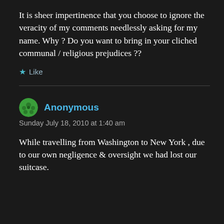It is sheer impertinence that you choose to ignore the veracity of my comments needlessly asking for my name. Why ? Do you want to bring in your cliched communal / religious prejudices ??
★ Like
Anonymous
Sunday July 18, 2010 at 1:40 am
While travelling from Washington to New York , due to our own negligence & oversight we had lost our suitcase.